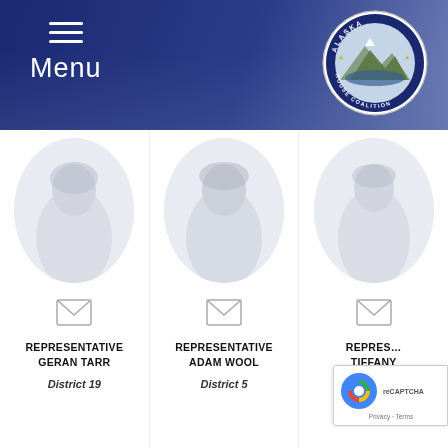Alaska House Coalition — Menu / Navigation Header
[Figure (logo): Alaska House Coalition circular seal logo with mountain and text]
[Figure (photo): Representative Geran Tarr headshot in oval frame]
[Figure (photo): Representative Adam Wool headshot in oval frame]
[Figure (photo): Representative Tiffany Zulkosky headshot in oval frame (partially visible)]
REPRESENTATIVE GERAN TARR
District 19
REPRESENTATIVE ADAM WOOL
District 5
REPRESENTATIVE TIFFANY ZULKOSKY
District 38